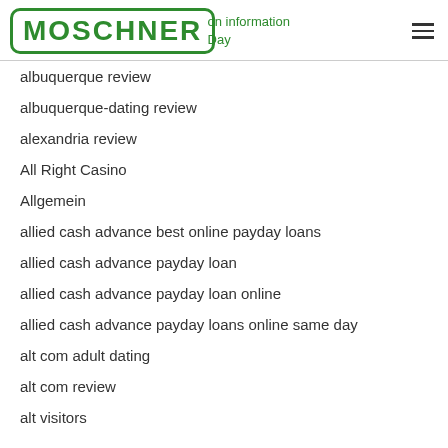MOSCHNER | on information Day
albuquerque review
albuquerque-dating review
alexandria review
All Right Casino
Allgemein
allied cash advance best online payday loans
allied cash advance payday loan
allied cash advance payday loan online
allied cash advance payday loans online same day
alt com adult dating
alt com review
alt visitors